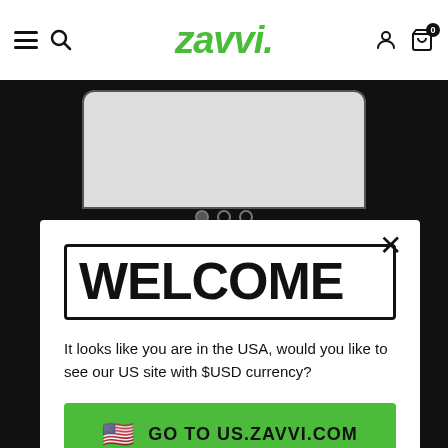ZAVVI
[Figure (screenshot): Zavvi website background showing dark page with phone mockup and carousel dots]
WELCOME
It looks like you are in the USA, would you like to see our US site with $USD currency?
🇺🇸  GO TO US.ZAVVI.COM
Non merci, je veux rester sur FR.ZAVVI.COM
TÉLÉCHARGEZ NOTRE APP